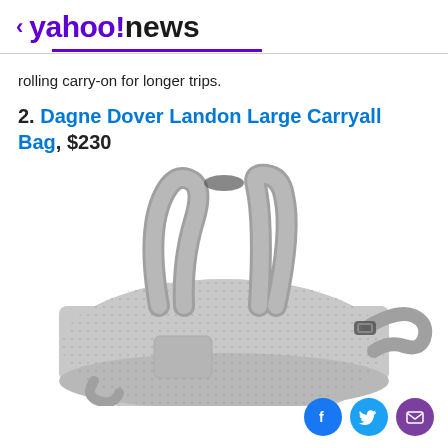< yahoo!news
rolling carry-on for longer trips.
2. Dagne Dover Landon Large Carryall Bag, $230
[Figure (photo): A light grey Dagne Dover Landon Large Carryall Bag with two top handles and a shoulder strap, photographed on a white background.]